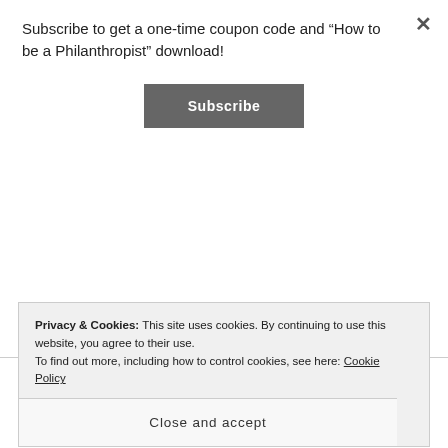Subscribe to get a one-time coupon code and “How to be a Philanthropist” download!
[Figure (other): Subscribe button — dark grey rounded rectangle with white bold text ‘Subscribe’]
to be like, “What’s this lollipop doing here?” and just think it’s garbage or something. So he keeps asking me for about a week. And so I’m trying to figure out how do I do this? So finally I get the lollipops and I said, “Okay, we’re going to go to these specific houses,” and I text the people that I know who are living there, and I
Privacy & Cookies: This site uses cookies. By continuing to use this website, you agree to their use.
To find out more, including how to control cookies, see here: Cookie Policy
Close and accept
neighborhood and planted lollipops for them, thinking